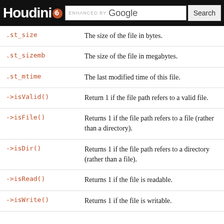Houdini — ENHANCED BY Google [Search]
| Attribute/Method | Description |
| --- | --- |
| .st_size | The size of the file in bytes. |
| .st_sizemb | The size of the file in megabytes. |
| .st_mtime | The last modified time of this file. |
| ->isValid() | Return 1 if the file path refers to a valid file. |
| ->isFile() | Returns 1 if the file path refers to a file (rather than a directory). |
| ->isDir() | Returns 1 if the file path refers to a directory (rather than a file). |
| ->isRead() | Returns 1 if the file is readable. |
| ->isWrite() | Returns 1 if the file is writable. |